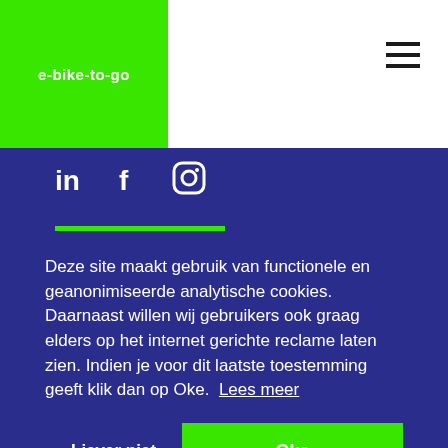e-bike-to-go
[Figure (logo): Green square logo with text 'e-bike-to-go' in white]
[Figure (illustration): Hamburger menu icon (three horizontal lines) in top right]
[Figure (illustration): Social media icons: LinkedIn (in), Facebook (f), Instagram (camera) in white on dark blue background]
Deze site maakt gebruik van functionele en geanonimiseerde analytische cookies. Daarnaast willen wij gebruikers ook graag elders op het internet gerichte reclame laten zien. Indien je voor dit laatste toestemming geeft klik dan op Oke.  Lees meer
Liever niet
Oke
Tuesday to Saturday: